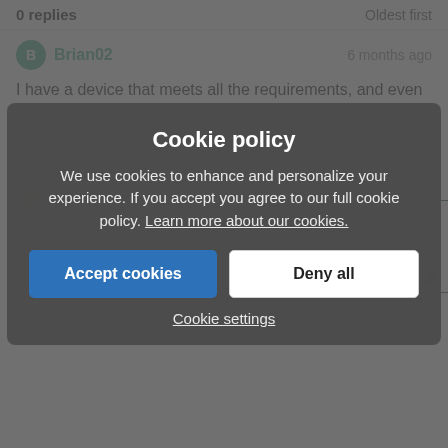0 replies   Oldest first
Brian02   6 months ago
I have a device that meets all the requirements, and even works fine on AT&T, but isn't in your list so service was suspended. Can it be reactivated or am I forced to use one of the few data only devices on the list?
Cookie policy
We use cookies to enhance and personalize your experience. If you accept you agree to our full cookie policy. Learn more about our cookies.
Accept cookies
Deny all
Cookie settings
I am currently using a 4G LTE modem (Netgear LB1120) with a Crick...
The cricket app is telling me my account will be suspended if I don't p... LTE phone.
My account has been suspended 3 times, prior to the